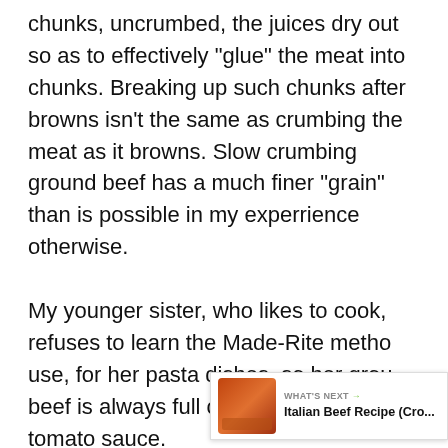chunks, uncrumbed, the juices dry out so as to effectively "glue" the meat into chunks. Breaking up such chunks after browns isn't the same as crumbing the meat as it browns. Slow crumbing ground beef has a much finer "grain" than is possible in my experrience otherwise.

My younger sister, who likes to cook, refuses to learn the Made-Rite method use, for her pasta dishes, so her ground beef is always full of big chunks, loose tomato sauce.
[Figure (other): Green circular heart/like button with count 125, and a share icon below it — floating action panel on right side]
[Figure (other): What's Next widget showing Italian Beef Recipe thumbnail with text 'WHAT'S NEXT → Italian Beef Recipe (Cro...']